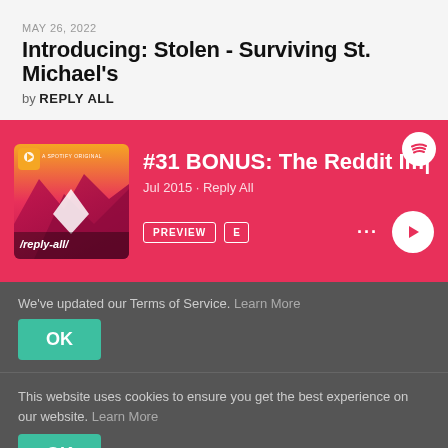MAY 26, 2022
Introducing: Stolen - Surviving St. Michael's
by REPLY ALL
[Figure (screenshot): Spotify podcast card for #31 BONUS: The Reddit Im... Jul 2015 · Reply All with album art showing /reply-all/ podcast cover, PREVIEW and E buttons, dots menu, and play button]
We've updated our Terms of Service. Learn More
OK
This website uses cookies to ensure you get the best experience on our website. Learn More
OK